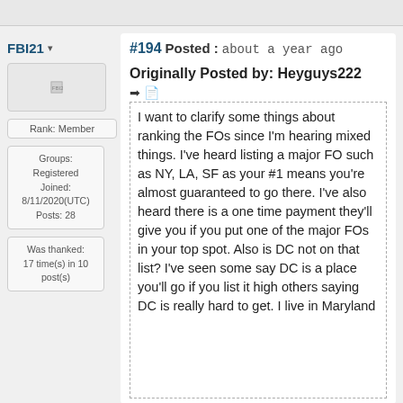FBI21 ▾
[Figure (other): Avatar placeholder image for FBI21]
Rank: Member
Groups: Registered
Joined: 8/11/2020(UTC)
Posts: 28
Was thanked: 17 time(s) in 10 post(s)
#194 Posted : about a year ago
Originally Posted by: Heyguys222
I want to clarify some things about ranking the FOs since I'm hearing mixed things. I've heard listing a major FO such as NY, LA, SF as your #1 means you're almost guaranteed to go there. I've also heard there is a one time payment they'll give you if you put one of the major FOs in your top spot. Also is DC not on that list? I've seen some say DC is a place you'll go if you list it high others saying DC is really hard to get. I live in Maryland